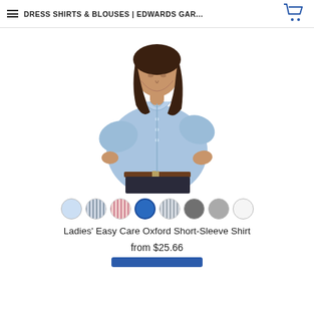≡ Dress Shirts & Blouses | Edwards Gar...
[Figure (photo): A woman wearing a light blue short-sleeve oxford button-up shirt, with dark hair, looking downward, on white background.]
[Figure (infographic): Row of 8 circular color swatches: light blue, blue-grey stripe, pink stripe, solid blue (selected), grey stripe, dark grey, medium grey, white.]
Ladies' Easy Care Oxford Short-Sleeve Shirt
from $25.66